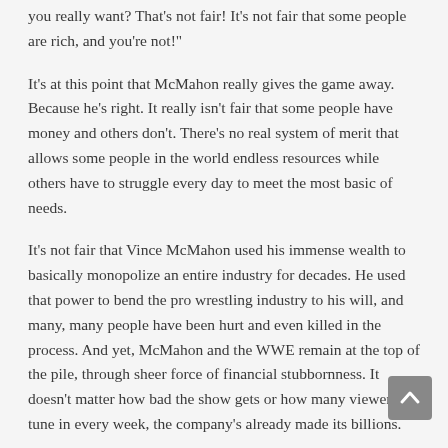you really want? That's not fair! It's not fair that some people are rich, and you're not!"
It's at this point that McMahon really gives the game away. Because he's right. It really isn't fair that some people have money and others don't. There's no real system of merit that allows some people in the world endless resources while others have to struggle every day to meet the most basic of needs.
It's not fair that Vince McMahon used his immense wealth to basically monopolize an entire industry for decades. He used that power to bend the pro wrestling industry to his will, and many, many people have been hurt and even killed in the process. And yet, McMahon and the WWE remain at the top of the pile, through sheer force of financial stubbornness. It doesn't matter how bad the show gets or how many viewers tune in every week, the company's already made its billions.
It's the end of the promo that really makes it one of my favorites of all time though. Because even as the evil heel berating the audience, even at his most insulting, Mr. McMahon never actually lays the blame on the everyday man's feet. Not a single